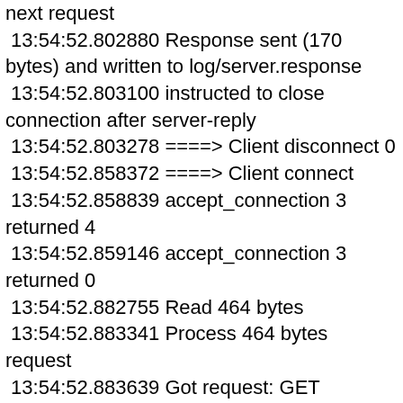next request
 13:54:52.802880 Response sent (170 bytes) and written to log/server.response
 13:54:52.803100 instructed to close connection after server-reply
 13:54:52.803278 ====> Client disconnect 0
 13:54:52.858372 ====> Client connect
 13:54:52.858839 accept_connection 3 returned 4
 13:54:52.859146 accept_connection 3 returned 0
 13:54:52.882755 Read 464 bytes
 13:54:52.883341 Process 464 bytes request
 13:54:52.883639 Got request: GET http://data.from.server.requiring.digest.hohoho.com/168 HTTP/1.1
 13:54:52.883858 Requested test number 168 part 0
 13:54:52.884257 - request found to be complete
 13:54:52.884462 Received Digest request,